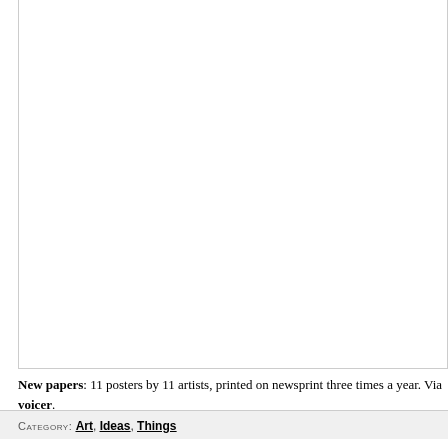[Figure (photo): Large white/blank image area with a border, occupying the top portion of the page.]
New papers: 11 posters by 11 artists, printed on newsprint three times a year. Via voicer.
CATEGORY: Art, Ideas, Things